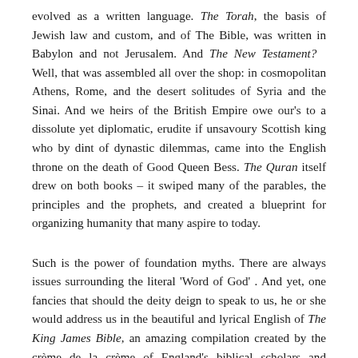evolved as a written language. The Torah, the basis of Jewish law and custom, and of The Bible, was written in Babylon and not Jerusalem. And The New Testament? Well, that was assembled all over the shop: in cosmopolitan Athens, Rome, and the desert solitudes of Syria and the Sinai. And we heirs of the British Empire owe our's to a dissolute yet diplomatic, erudite if unsavoury Scottish king who by dint of dynastic dilemmas, came into the English throne on the death of Good Queen Bess. The Quran itself drew on both books – it swiped many of the parables, the principles and the prophets, and created a blueprint for organizing humanity that many aspire to today.
Such is the power of foundation myths. There are always issues surrounding the literal 'Word of God' . And yet, one fancies that should the deity deign to speak to us, he or she would address us in the beautiful and lyrical English of The King James Bible, an amazing compilation created by the crème de la crème of England's biblical scholars and philologists. Specifically appointed by that Scottish King we introduced above, they melded earlier versions of "the Word" with their own translations from Aramaic, Latin, Hebrew and